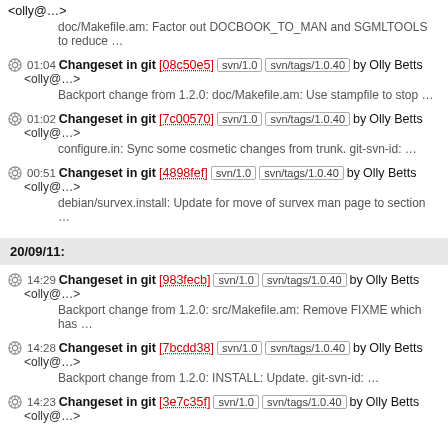<olly@…>
doc/Makefile.am: Factor out DOCBOOK_TO_MAN and SGMLTOOLS to reduce …
01:04 Changeset in git [08c50e5] svn/1.0 svn/tags/1.0.40 by Olly Betts <olly@…> Backport change from 1.2.0: doc/Makefile.am: Use stampfile to stop …
01:02 Changeset in git [7c00570] svn/1.0 svn/tags/1.0.40 by Olly Betts <olly@…> configure.in: Sync some cosmetic changes from trunk. git-svn-id: …
00:51 Changeset in git [4898fef] svn/1.0 svn/tags/1.0.40 by Olly Betts <olly@…> debian/survex.install: Update for move of survex man page to section …
20/09/11:
14:29 Changeset in git [983fecb] svn/1.0 svn/tags/1.0.40 by Olly Betts <olly@…> Backport change from 1.2.0: src/Makefile.am: Remove FIXME which has …
14:28 Changeset in git [7bcdd38] svn/1.0 svn/tags/1.0.40 by Olly Betts <olly@…> Backport change from 1.2.0: INSTALL: Update. git-svn-id: …
14:23 Changeset in git [3e7c35f] svn/1.0 svn/tags/1.0.40 by Olly Betts <olly@…>